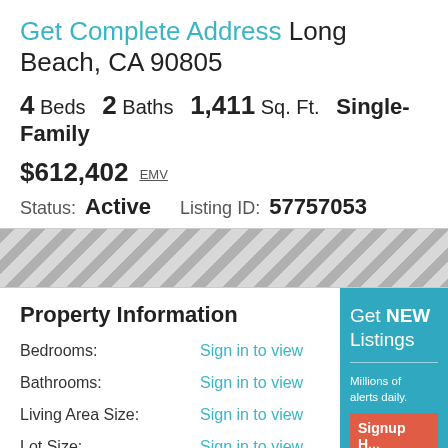Get Complete Address Long Beach, CA 90805
4 Beds  2 Baths  1,411 Sq. Ft.  Single-Family
$612,402 EMV
Status: Active   Listing ID: 57757053
[Figure (photo): Blurred/redacted property photo with diagonal stripe pattern]
Property Information
Bedrooms: Sign in to view
Bathrooms: Sign in to view
Living Area Size: Sign in to view
Lot Size: Sign in to view
Year Built: Sign in to view
Source ID: Sign in to view
Day(s) On Site: Sign in to view
Get NEW Listings
Millions of alerts daily.
Signup Here
No Thanks